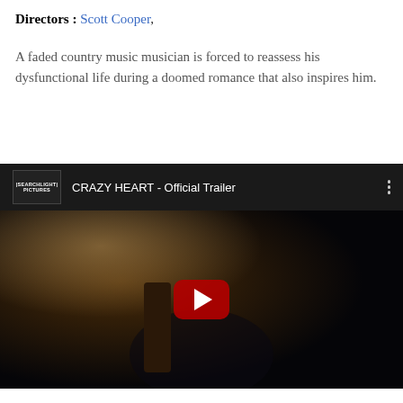Directors : Scott Cooper,
A faded country music musician is forced to reassess his dysfunctional life during a doomed romance that also inspires him.
[Figure (screenshot): YouTube video embed showing 'CRAZY HEART - Official Trailer' with Searchlight Pictures logo, three-dot menu, and a play button over a dark movie scene of a person with long hair leaning over.]